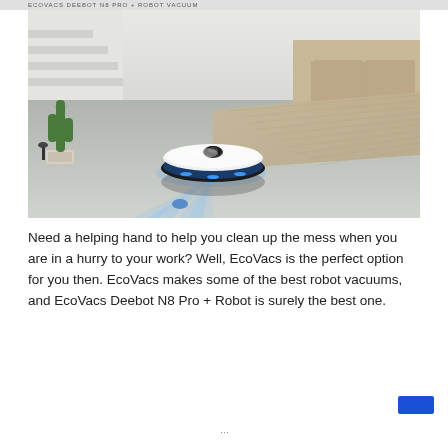ECOVACS DEEBOT N8 PRO + ROBOT VACUUM
[Figure (photo): A white circular robot vacuum cleaner with blue LED lights glowing underneath, sitting on a light gray floor in a modern living room with a beige sofa, a rug, stairs, and a cactus plant in the background.]
Need a helping hand to help you clean up the mess when you are in a hurry to your work? Well, EcoVacs is the perfect option for you then. EcoVacs makes some of the best robot vacuums, and EcoVacs Deebot N8 Pro + Robot is surely the best one.